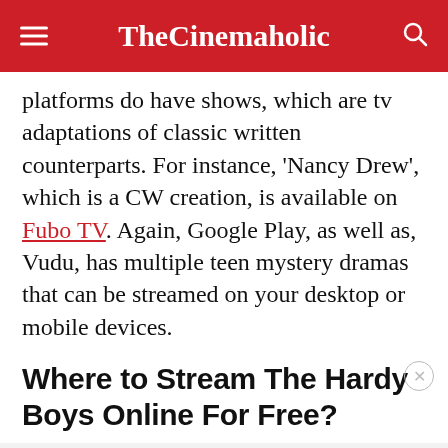TheCinemaholic
platforms do have shows, which are tv adaptations of classic written counterparts. For instance, ‘Nancy Drew’, which is a CW creation, is available on Fubo TV. Again, Google Play, as well as, Vudu, has multiple teen mystery dramas that can be streamed on your desktop or mobile devices.
Where to Stream The Hardy Boys Online For Free?
[Figure (other): Advertisement placeholder area with 'ADVERTISEMENT' label]